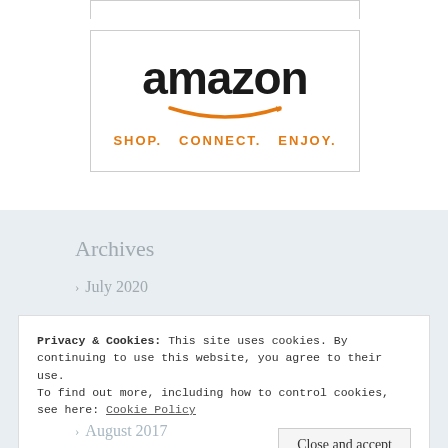[Figure (logo): Amazon logo with 'amazon' text in black bold font, an orange smile/arrow beneath, and orange tagline text 'SHOP. CONNECT. ENJOY.' Inside a rectangular border box.]
Archives
> July 2020
Privacy & Cookies: This site uses cookies. By continuing to use this website, you agree to their use.
To find out more, including how to control cookies, see here: Cookie Policy
> August 2017